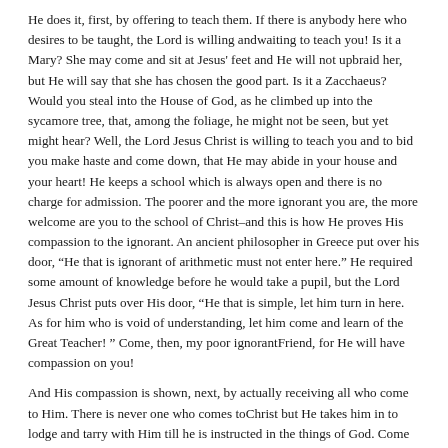He does it, first, by offering to teach them. If there is anybody here who desires to be taught, the Lord is willing andwaiting to teach you! Is it a Mary? She may come and sit at Jesus' feet and He will not upbraid her, but He will say that she has chosen the good part. Is it a Zacchaeus? Would you steal into the House of God, as he climbed up into the sycamore tree, that, among the foliage, he might not be seen, but yet might hear? Well, the Lord Jesus Christ is willing to teach you and to bid you make haste and come down, that He may abide in your house and your heart! He keeps a school which is always open and there is no charge for admission. The poorer and the more ignorant you are, the more welcome are you to the school of Christ–and this is how He proves His compassion to the ignorant. An ancient philosopher in Greece put over his door, “He that is ignorant of arithmetic must not enter here.” He required some amount of knowledge before he would take a pupil, but the Lord Jesus Christ puts over His door, “He that is simple, let him turn in here. As for him who is void of understanding, let him come and learn of the Great Teacher! ” Come, then, my poor ignorantFriend, for He will have compassion on you!
And His compassion is shown, next, by actually receiving all who come to Him. There is never one who comes toChrist but He takes him in to lodge and tarry with Him till he is instructed in the things of God. Come along with you, for Jesus said, “Him that comes to Me, I will in no wise cast out.”